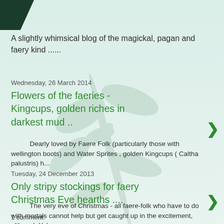A slightly whimsical blog of the magickal, pagan and faery kind ......
Wednesday, 26 March 2014
Flowers of the faeries - Kingcups, golden riches in darkest mud ..
Dearly loved by Faere Folk (particularly those with wellington boots) and Water Sprites , golden Kingcups ( Caltha palustris) h...
Tuesday, 24 December 2013
Only stripy stockings for faery Christmas Eve hearths ....
The very eve of Christmas - all faere-folk who have to do with mortals cannot help but get caught up in the excitement, although Yule ...
1 comment: